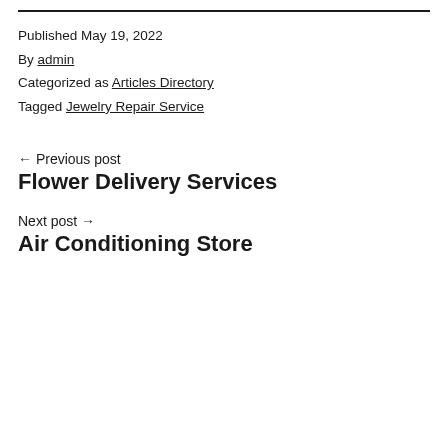Published May 19, 2022
By admin
Categorized as Articles Directory
Tagged Jewelry Repair Service
← Previous post
Flower Delivery Services
Next post →
Air Conditioning Store